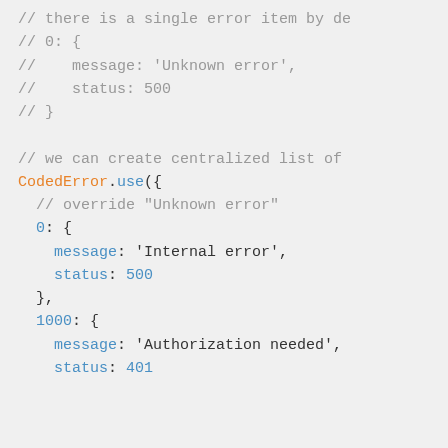// there is a single error item by de
// 0: {
//    message: 'Unknown error',
//    status: 500
// }

// we can create centralized list of
CodedError.use({
  // override "Unknown error"
  0: {
    message: 'Internal error',
    status: 500
  },
  1000: {
    message: 'Authorization needed',
    status: 401